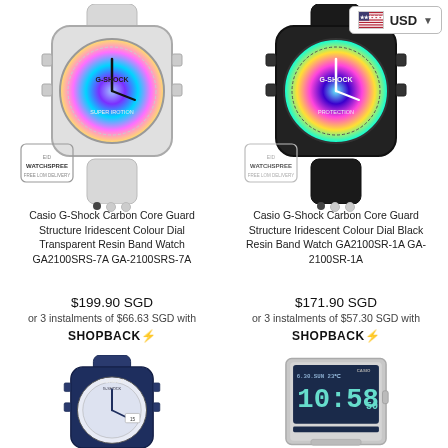[Figure (screenshot): USD currency selector with US flag and dropdown chevron in top right corner]
[Figure (photo): Casio G-Shock watch with iridescent colour dial and transparent resin band, with Watchspree badge and dot navigation indicators]
Casio G-Shock Carbon Core Guard Structure Iridescent Colour Dial Transparent Resin Band Watch GA2100SRS-7A GA-2100SRS-7A
$199.90 SGD
or 3 instalments of $66.63 SGD with
SHOPBACK⚡
[Figure (photo): Casio G-Shock watch with iridescent colour dial and black resin band, with Watchspree badge and dot navigation indicators]
Casio G-Shock Carbon Core Guard Structure Iridescent Colour Dial Black Resin Band Watch GA2100SR-1A GA-2100SR-1A
$171.90 SGD
or 3 instalments of $57.30 SGD with
SHOPBACK⚡
[Figure (photo): Casio G-Shock navy blue watch with white dial, partially visible at bottom of page]
[Figure (photo): Casio digital alarm clock with blue display showing 10:58, partially visible at bottom of page]